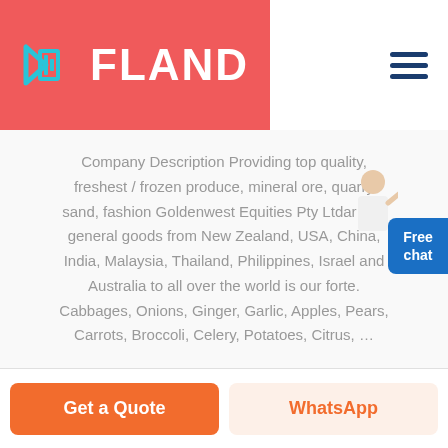[Figure (logo): FLAND company logo with diamond/arrow icon on red background]
Company Description Providing top quality, freshest / frozen produce, mineral ore, quarry sand, fashion Goldenwest Equities Pty Ltdar and general goods from New Zealand, USA, China, India, Malaysia, Thailand, Philippines, Israel and Australia to all over the world is our forte. Cabbages, Onions, Ginger, Garlic, Apples, Pears, Carrots, Broccoli, Celery, Potatoes, Citrus, …
Get a Quote
WhatsApp